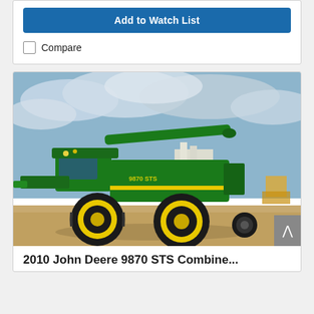Add to Watch List
Compare
[Figure (photo): John Deere 9870 STS green combine harvester parked on a gravel lot with cloudy sky background and grain elevator in the distance]
2010 John Deere 9870 STS Combine...